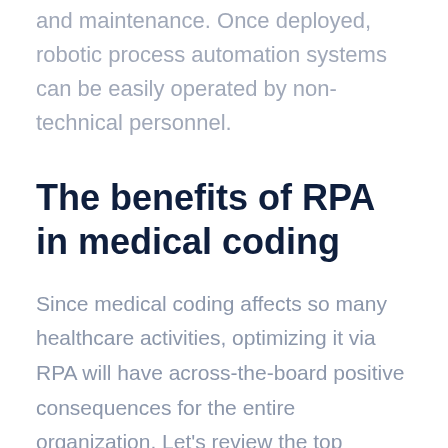and maintenance. Once deployed, robotic process automation systems can be easily operated by non-technical personnel.
The benefits of RPA in medical coding
Since medical coding affects so many healthcare activities, optimizing it via RPA will have across-the-board positive consequences for the entire organization. Let's review the top benefits that RPA can bring to medical organizations.